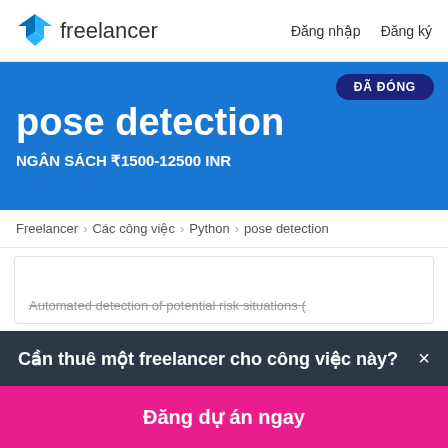freelancer — Đăng nhập   Đăng ký
pose detection
NGÂN SÁCH ₹1500-12500 INR
ĐÃ ĐÓNG
Freelancer › Các công việc › Python › pose detection
Automated detection of potential risk situations (
Cần thuê một freelancer cho công việc này? ×
Đăng dự án ngay